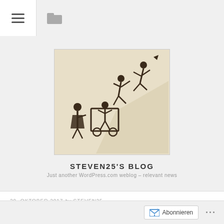[Figure (illustration): Stylized black ink illustration on aged parchment background showing silhouetted figures in motion around a cart or box, appearing to be running or jumping]
STEVEN25'S BLOG
Just another WordPress.com weblog – relevant news
29. OKTOBER 2017 by STEVEN25
Catalonia's independence struggle – Live Blog by green left Weekly (Australia)